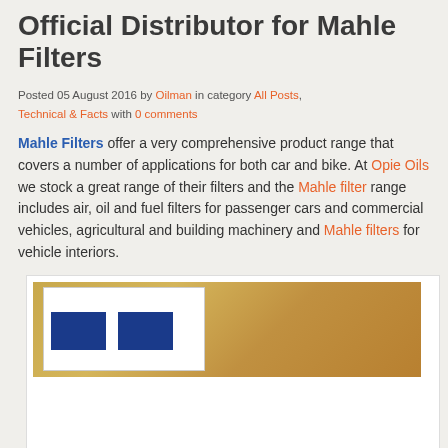Official Distributor for Mahle Filters
Posted 05 August 2016 by Oilman in category All Posts, Technical & Facts with 0 comments
Mahle Filters offer a very comprehensive product range that covers a number of applications for both car and bike. At Opie Oils we stock a great range of their filters and the Mahle filter range includes air, oil and fuel filters for passenger cars and commercial vehicles, agricultural and building machinery and Mahle filters for vehicle interiors.
[Figure (photo): Photo of a Mahle filter box/packaging showing blue logo elements on a white card against a wooden background]